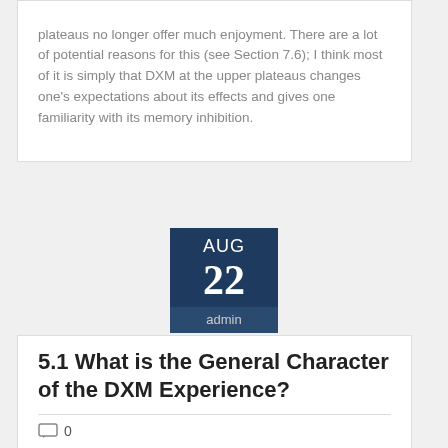plateaus no longer offer much enjoyment. There are a lot of potential reasons for this (see Section 7.6); I think most of it is simply that DXM at the upper plateaus changes one’s expectations about its effects and gives one familiarity with its memory inhibition.
[Figure (infographic): Date badge showing AUG 22 with author 'admin' on dark blue background]
5.1 What is the General Character of the DXM Experience?